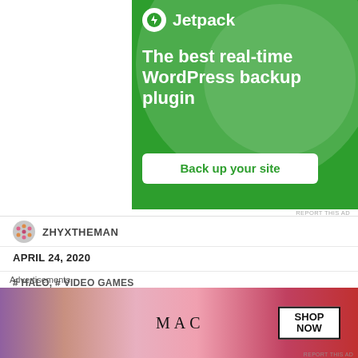[Figure (screenshot): Jetpack WordPress plugin advertisement banner with green background, showing 'The best real-time WordPress backup plugin' tagline and 'Back up your site' CTA button]
REPORT THIS AD
ZHYXTHEMAN
APRIL 24, 2020
# HALO, # VIDEO GAMES
SHARE THIS:
[Figure (screenshot): Social sharing icon circles in dark blue, blue, cyan, light blue, red, and pink colors]
[Figure (screenshot): MAC Cosmetics advertisement showing lipsticks with SHOP NOW button]
Advertisements